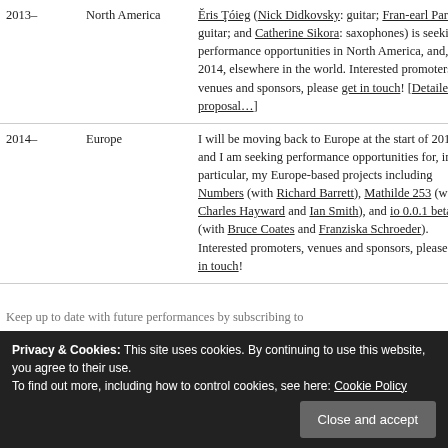| Year | Region | Details |
| --- | --- | --- |
| 2013– | North America | Ĕris Ţóieg (Nick Didkovsky: guitar; Fran-earl Park: guitar; and Catherine Sikora: saxophones) is seeking performance opportunities in North America, and, in 2014, elsewhere in the world. Interested promoters, venues and sponsors, please get in touch! [Detailed proposal...] |
| 2014– | Europe | I will be moving back to Europe at the start of 2014, and I am seeking performance opportunities for, in particular, my Europe-based projects including Numbers (with Richard Barrett), Mathilde 253 (with Charles Hayward and Ian Smith), and io 0.0.1 beta++ (with Bruce Coates and Franziska Schroeder). Interested promoters, venues and sponsors, please get in touch! |
Keep up to date with future performances by subscribing to
Privacy & Cookies: This site uses cookies. By continuing to use this website, you agree to their use. To find out more, including how to control cookies, see here: Cookie Policy